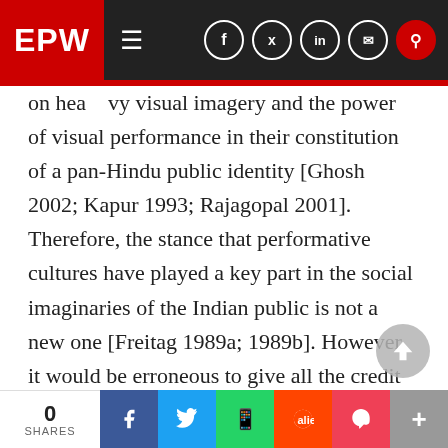EPW
on heavy visual imagery and the power of visual performance in their constitution of a pan-Hindu public identity [Ghosh 2002; Kapur 1993; Rajagopal 2001]. Therefore, the stance that performative cultures have played a key part in the social imaginaries of the Indian public is not a new one [Freitag 1989a; 1989b]. However, it would be erroneous to give all the credit for the birth of visual politics to hindutva. In fact, the rise of the politics of hindutva mark a vital historical point in modern India's development – the liberalisation of the Indian economy in the early 1990s, and the accompanying proliferation of consumer goods was
0 SHARES